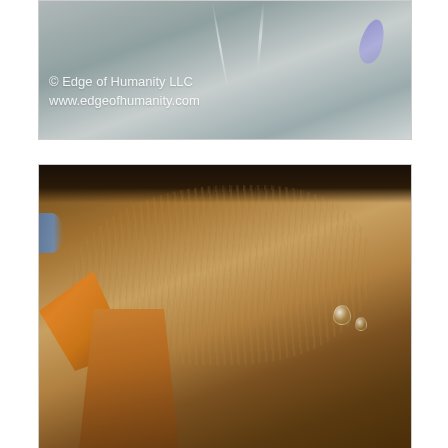[Figure (photo): Top portion of a photograph showing smoke or mist against a gray background with a purple flower petal visible on the right side. Watermark text reads '© Edge of Humanity LLC' and 'www.edgeofhumanity.com' in white.]
[Figure (photo): Close-up macro photograph of what appears to be a coconut husk or similar fibrous natural material, showing textured brown fibers, a dark band at the top, a blue sky visible at the left edge, an orange-colored bark or wood piece, and water droplets on the surface.]